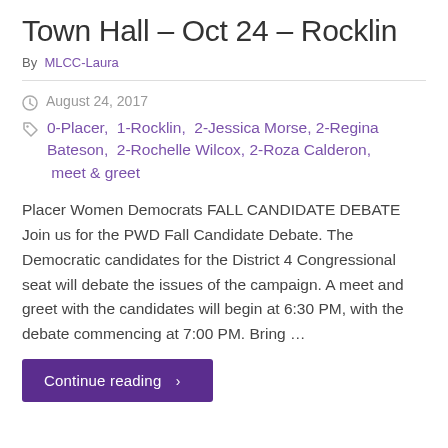Town Hall – Oct 24 – Rocklin
By MLCC-Laura
August 24, 2017
0-Placer, 1-Rocklin, 2-Jessica Morse, 2-Regina Bateson, 2-Rochelle Wilcox, 2-Roza Calderon, meet & greet
Placer Women Democrats FALL CANDIDATE DEBATE Join us for the PWD Fall Candidate Debate. The Democratic candidates for the District 4 Congressional seat will debate the issues of the campaign. A meet and greet with the candidates will begin at 6:30 PM, with the debate commencing at 7:00 PM. Bring ...
Continue reading ›